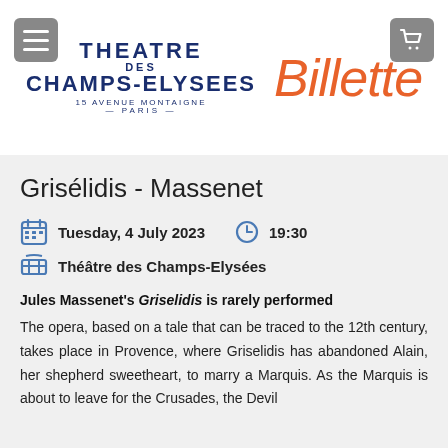[Figure (logo): Théâtre des Champs-Elysées logo with 'THEATRE DES CHAMPS-ELYSEES 15 AVENUE MONTAIGNE — PARIS —' in dark navy, paired with 'Billette' in orange italic text (Billetterie, partially cropped)]
Grisélidis - Massenet
Tuesday, 4 July 2023   19:30
Théâtre des Champs-Elysées
Jules Massenet's Griselidis is rarely performed
The opera, based on a tale that can be traced to the 12th century, takes place in Provence, where Griselidis has abandoned Alain, her shepherd sweetheart, to marry a Marquis. As the Marquis is about to leave for the Crusades, the Devil